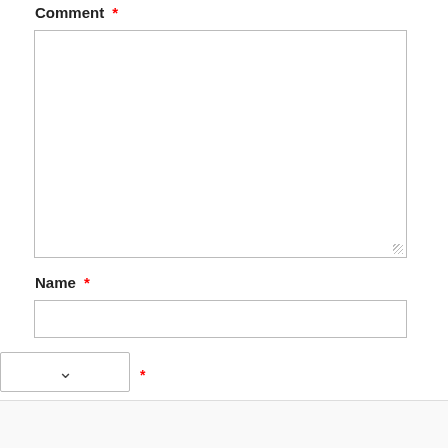Comment *
[Figure (screenshot): Empty textarea input field for comment]
Name *
[Figure (screenshot): Empty text input field for name]
[Figure (screenshot): Dropdown selector with chevron down icon and red asterisk]
[Figure (infographic): Ad banner: Office Depot OfficeMax logo, green checkmarks with 'In-store shopping' and 'Curbside pickup', blue navigation arrow icon, and small play and close icons]